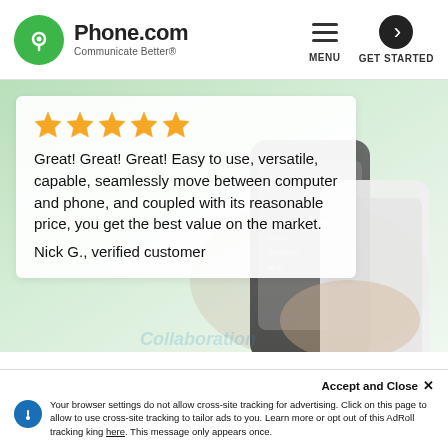[Figure (logo): Phone.com logo with green circle icon and text 'Phone.com Communicate Better®']
[Figure (screenshot): Navigation header with MENU (hamburger icon) and GET STARTED (arrow circle) buttons]
[Figure (photo): Background photo of hands holding a smartphone with blurred green/light background]
[Figure (infographic): Five gold star rating icons]
Great! Great! Great! Easy to use, versatile, capable, seamlessly move between computer and phone, and coupled with its reasonable price, you get the best value on the market.
Nick G., verified customer
Accept and Close ✕
Your browser settings do not allow cross-site tracking for advertising. Click on this page to allow to use cross-site tracking to tailor ads to you. Learn more or opt out of this AdRoll tracking king here. This message only appears once.